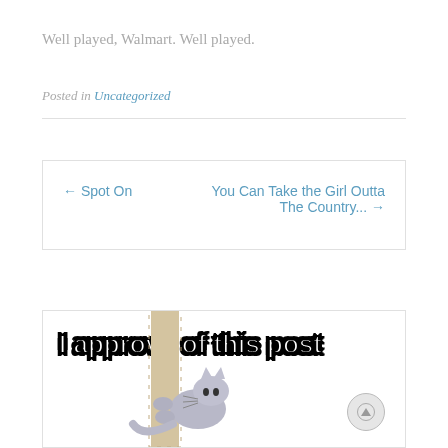Well played, Walmart. Well played.
Posted in Uncategorized
← Spot On
You Can Take the Girl Outta The Country... →
[Figure (photo): Meme image with text 'I approve of this post' and a cat climbing a scratching post]